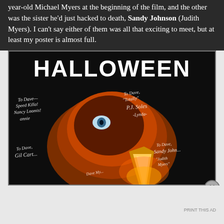year-old Michael Myers at the beginning of the film, and the other was the sister he'd just hacked to death, Sandy Johnson (Judith Myers). I can't say either of them was all that exciting to meet, but at least my poster is almost full.
[Figure (photo): A signed Halloween movie poster showing the iconic title 'HALLOWEEN' in large white letters above an image of Michael Myers' mask with a jack-o-lantern and knife. Multiple autographs are written across the poster addressed to 'Dave' from various cast members including Nancy Loomis (Annie), P.J. Soles (Lynda), Sandy Johnson (Judith Myers), and others.]